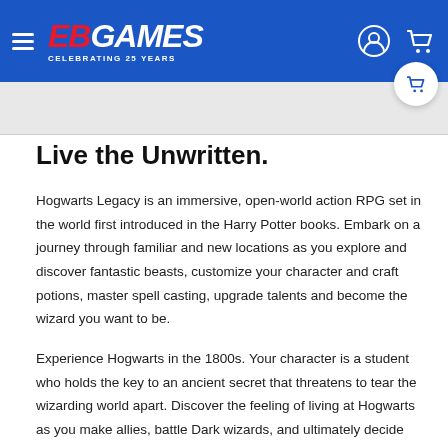EB GAMES — CELEBRATING 25 YEARS
Live the Unwritten.
Hogwarts Legacy is an immersive, open-world action RPG set in the world first introduced in the Harry Potter books. Embark on a journey through familiar and new locations as you explore and discover fantastic beasts, customize your character and craft potions, master spell casting, upgrade talents and become the wizard you want to be.
Experience Hogwarts in the 1800s. Your character is a student who holds the key to an ancient secret that threatens to tear the wizarding world apart. Discover the feeling of living at Hogwarts as you make allies, battle Dark wizards, and ultimately decide the fate of the wizarding world. Your legacy is what you make of it.